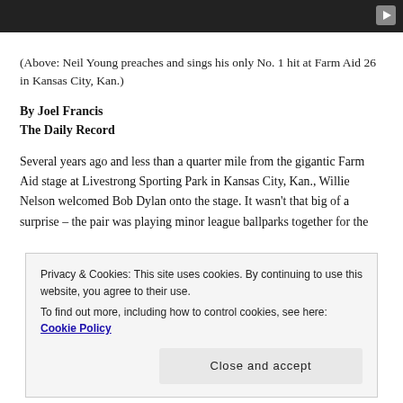[Figure (screenshot): Dark video player bar at top with play button icon in top right corner]
(Above: Neil Young preaches and sings his only No. 1 hit at Farm Aid 26 in Kansas City, Kan.)
By Joel Francis
The Daily Record
Several years ago and less than a quarter mile from the gigantic Farm Aid stage at Livestrong Sporting Park in Kansas City, Kan., Willie Nelson welcomed Bob Dylan onto the stage. It wasn't that big of a surprise – the pair was playing minor league ballparks together for the
Privacy & Cookies: This site uses cookies. By continuing to use this website, you agree to their use.
To find out more, including how to control cookies, see here: Cookie Policy
Close and accept